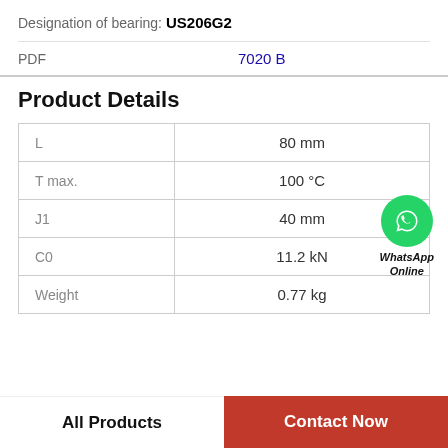Designation of bearing: US206G2
PDF  7020 B
Product Details
| Property | Value |
| --- | --- |
| L | 80 mm |
| T max. | 100 °C |
| J1 | 40 mm |
| C0 | 11.2 kN |
| Weight | 0.77 kg |
[Figure (logo): WhatsApp Online green phone icon badge]
All Products
Contact Now